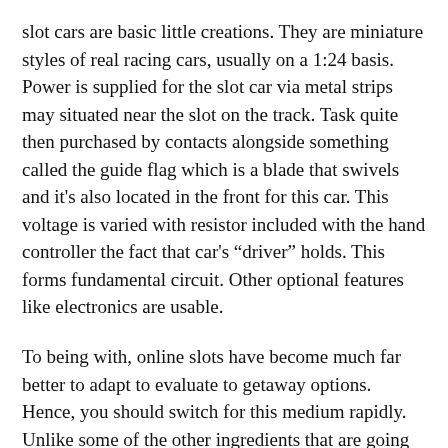slot cars are basic little creations. They are miniature styles of real racing cars, usually on a 1:24 basis. Power is supplied for the slot car via metal strips may situated near the slot on the track. Task quite then purchased by contacts alongside something called the guide flag which is a blade that swivels and it's also located in the front for this car. This voltage is varied with resistor included with the hand controller the fact that car's "driver" holds. This forms fundamental circuit. Other optional features like electronics are usable.
To being with, online slots have become much far better to adapt to evaluate to getaway options. Hence, you should switch for this medium rapidly. Unlike some of the other ingredients that are going high tech, slots can be really simpler perform from your. You should find this end up being much easier than what you have imagined, which is the reason why this location that you would want to think much more. Hence, keep this in account if you want to be assured that won't be